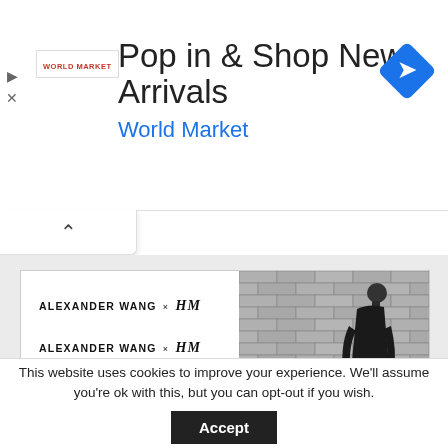[Figure (screenshot): Advertisement banner for World Market with logo, title 'Pop in & Shop New Arrivals', subtitle 'World Market', and navigation icon on the right]
[Figure (screenshot): Alexander Wang x H&M promotional card showing the brand logo repeated three times on the left and a black and white photo of a person in dark clothing standing against a brick wall on the right]
This website uses cookies to improve your experience. We'll assume you're ok with this, but you can opt-out if you wish.
Accept